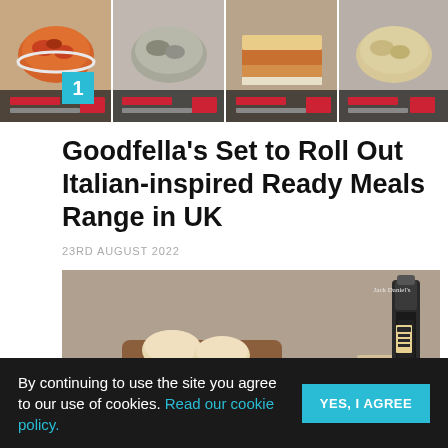[Figure (photo): Strip of four Italian ready meal product images with number 1 badge overlay]
Goodfella’s Set to Roll Out Italian-inspired Ready Meals Range in UK
23RD AUGUST 2022
[Figure (photo): Food spread photo showing biscuits on a wooden board, pulled meat, macaroni cheese, green vegetables, a glass of iced drink, a Jack Daniel's bottle, and a peach]
By continuing to use the site you agree to our use of cookies. Read our cookie policy.